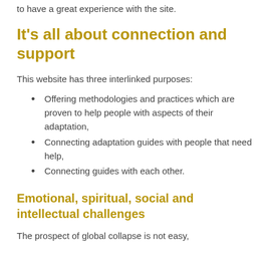to have a great experience with the site.
It's all about connection and support
This website has three interlinked purposes:
Offering methodologies and practices which are proven to help people with aspects of their adaptation,
Connecting adaptation guides with people that need help,
Connecting guides with each other.
Emotional, spiritual, social and intellectual challenges
The prospect of global collapse is not easy,